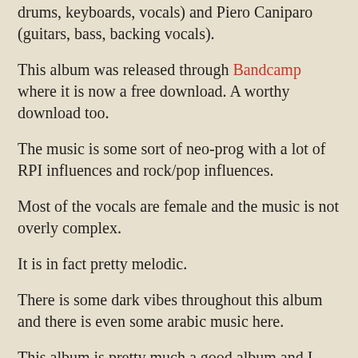drums, keyboards, vocals) and Piero Caniparo (guitars, bass, backing vocals).
This album was released through Bandcamp where it is now a free download. A worthy download too.
The music is some sort of neo-prog with a lot of RPI influences and rock/pop influences.
Most of the vocals are female and the music is not overly complex.
It is in fact pretty melodic.
There is some dark vibes throughout this album and there is even some arabic music here.
This album is pretty much a good album and I would rate it as a good album. It is most certainly a worthy download and a keeper too.
I hope this band will return one day. But this album need a lot more attention and play before that happens, I fear.